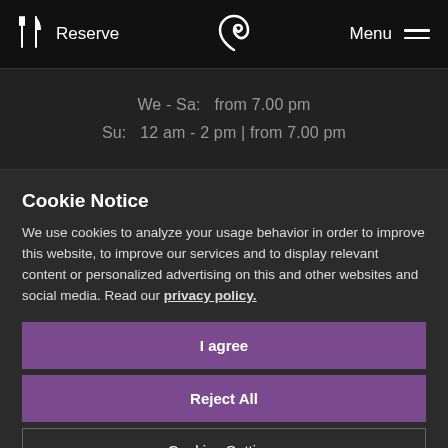Reserve | [logo] | Menu
We - Sa:  from 7.00 pm
Su:  12 am - 2 pm | from 7.00 pm
Cookie Notice
We use cookies to analyze your usage behavior in order to improve this website, to improve our services and to display relevant content or personalized advertising on this and other websites and social media. Read our privacy policy.
I agree
Reject All
Cookies Settings